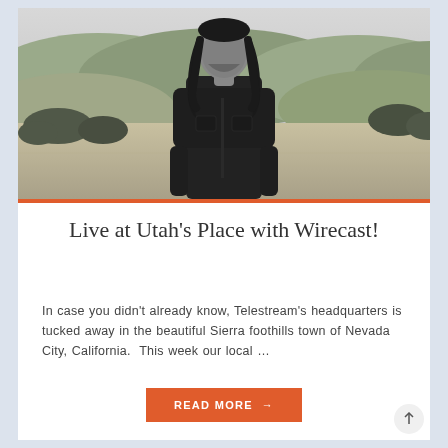[Figure (photo): Black and white photo of a man with long dark hair and beard wearing a dark jacket, standing in an open field with rolling hills and sparse trees in the background.]
Live at Utah’s Place with Wirecast!
In case you didn’t already know, Telestream’s headquarters is tucked away in the beautiful Sierra foothills town of Nevada City, California.  This week our local …
READ MORE →